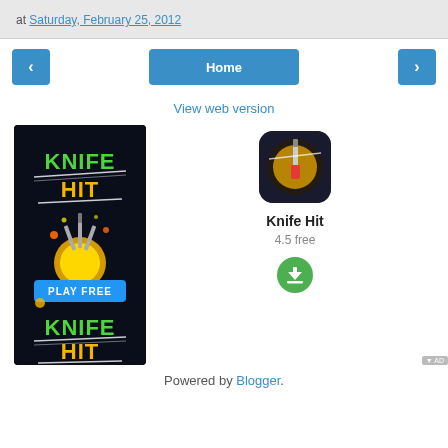at Saturday, February 25, 2012
< Home >
View web version
[Figure (screenshot): Knife Hit game advertisement showing game title in green and yellow text with knives and 'PLAY FREE' button, alongside app icon, title 'Knife Hit', rating '4.5 free', and download button]
Powered by Blogger.